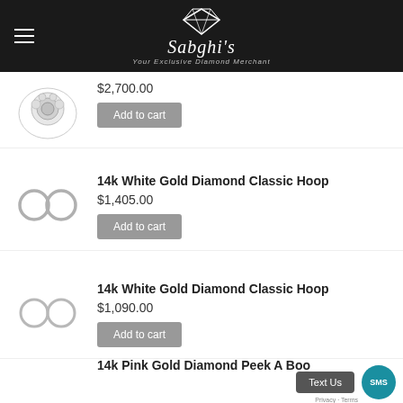Sabghi's — Your Exclusive Diamond Merchant
$2,700.00
Add to cart
14k White Gold Diamond Classic Hoop
$1,405.00
Add to cart
14k White Gold Diamond Classic Hoop
$1,090.00
Add to cart
14k Pink Gold Diamond Peek A Boo